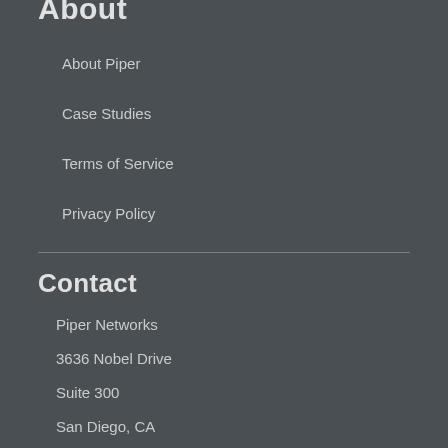About
About Piper
Case Studies
Terms of Service
Privacy Policy
Contact
Piper Networks
3636 Nobel Drive
Suite 300
San Diego, CA